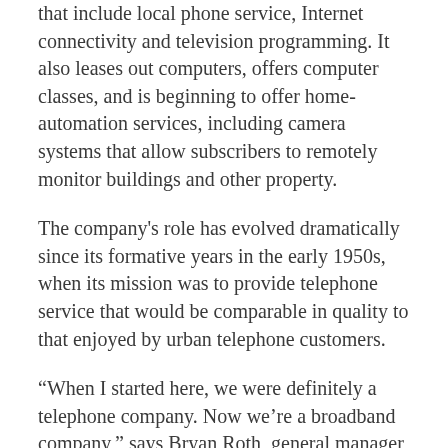that include local phone service, Internet connectivity and television programming. It also leases out computers, offers computer classes, and is beginning to offer home-automation services, including camera systems that allow subscribers to remotely monitor buildings and other property.
The company's role has evolved dramatically since its formative years in the early 1950s, when its mission was to provide telephone service that would be comparable in quality to that enjoyed by urban telephone customers.
“When I started here, we were definitely a telephone company. Now we’re a broadband company,” says Bryan Roth, general manager and CEO of TrioTel. He’s been with the cooperative since 1998. “Telephone is probably the least attractive service that we provide our customers.”
The phone service remains fine. It just lacks the glamour